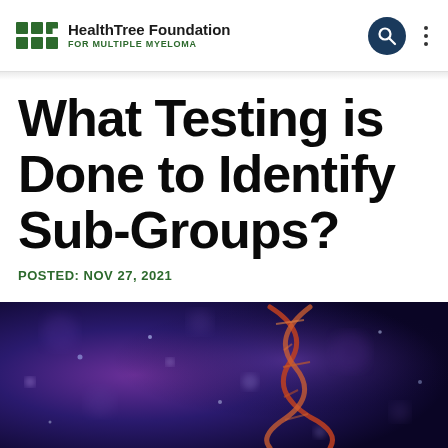HealthTree Foundation FOR MULTIPLE MYELOMA
What Testing is Done to Identify Sub-Groups?
POSTED: NOV 27, 2021
[Figure (photo): Blue and purple toned abstract background image showing a DNA double helix structure with glowing orange/red strands against a deep blue/purple bokeh background]